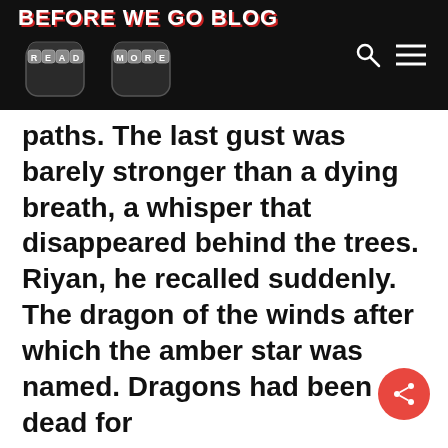BEFORE WE GO BLOG
paths. The last gust was barely stronger than a dying breath, a whisper that disappeared behind the trees. Riyan, he recalled suddenly. The dragon of the winds after which the amber star was named. Dragons had been dead for